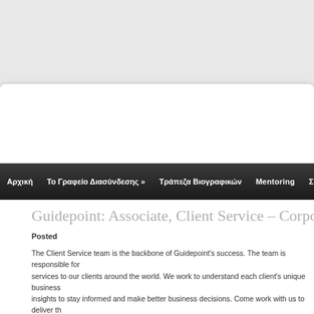Αρχική | Το Γραφείο Διασύνδεσης » | Τράπεζα Βιογραφικών | Mentoring | Σύλλ
Guidepoint: Associate, Client Service – Corpo
Posted
The Client Service team is the backbone of Guidepoint's success. The team is responsible for services to our clients around the world. We work to understand each client's unique business insights to stay informed and make better business decisions. Come work with us to deliver th help our clients make some of the most important business decisions in today's economy.
What You'll Do:
• Review and analyze client research requests and use a range of resources to identify the mo across geographies, industries, and topics for each project
• Utilize the phone, LinkedIn, and other outreach methods to recruit new Advisors to join